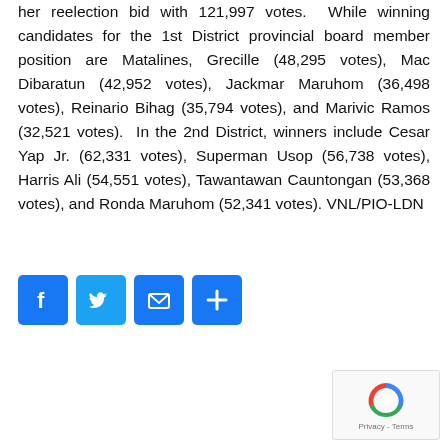her reelection bid with 121,997 votes. While winning candidates for the 1st District provincial board member position are Matalines, Grecille (48,295 votes), Mac Dibaratun (42,952 votes), Jackmar Maruhom (36,498 votes), Reinario Bihag (35,794 votes), and Marivic Ramos (32,521 votes). In the 2nd District, winners include Cesar Yap Jr. (62,331 votes), Superman Usop (56,738 votes), Harris Ali (54,551 votes), Tawantawan Cauntongan (53,368 votes), and Ronda Maruhom (52,341 votes). VNL/PIO-LDN
[Figure (infographic): Four social sharing buttons: Facebook (blue with f logo), Twitter (blue with bird logo), Email (blue with envelope icon), Share/Plus (blue with plus icon)]